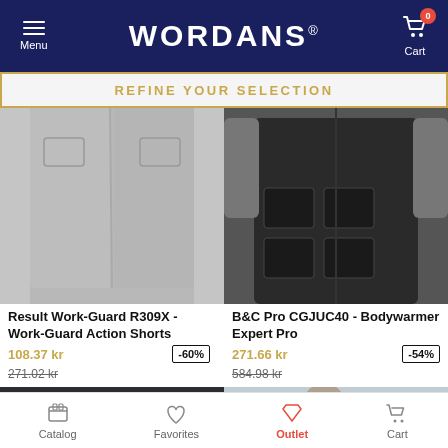WORDANS - Menu / Cart
REFINE YOUR SELECTION
[Figure (photo): Grey work shorts - Result Work-Guard R309X Work-Guard Action Shorts]
Result Work-Guard R309X - Work-Guard Action Shorts
108.37 kr -60% 271.02 kr
[Figure (photo): Black bodywarmer vest - B&C Pro CGJUC40 Bodywarmer Expert Pro]
B&C Pro CGJUC40 - Bodywarmer Expert Pro
271.66 kr -54% 584.98 kr
[Figure (photo): Dark navy jacket with 48h badge]
[Figure (photo): Man in blue shirt with 48h badge]
Catalog   Favorites   Outlet   Cart